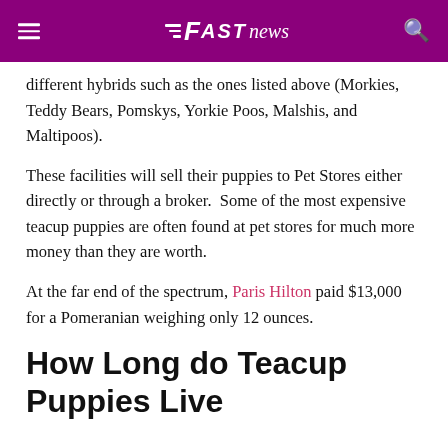FAST NEWS
different hybrids such as the ones listed above (Morkies, Teddy Bears, Pomskys, Yorkie Poos, Malshis, and Maltipoos).
These facilities will sell their puppies to Pet Stores either directly or through a broker.  Some of the most expensive teacup puppies are often found at pet stores for much more money than they are worth.
At the far end of the spectrum, Paris Hilton paid $13,000 for a Pomeranian weighing only 12 ounces.
How Long do Teacup Puppies Live